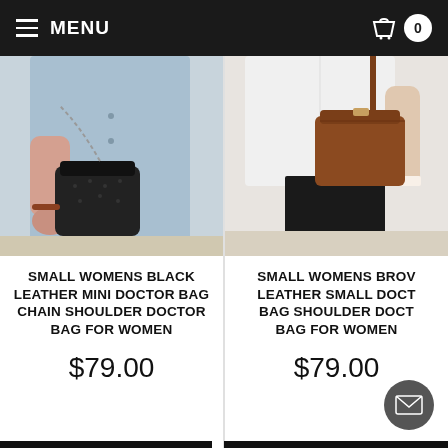MENU
[Figure (photo): Woman wearing light blue dress holding a small black leather mini doctor bag with chain strap]
SMALL WOMENS BLACK LEATHER MINI DOCTOR BAG CHAIN SHOULDER DOCTOR BAG FOR WOMEN
$79.00
[Figure (photo): Woman in white shirt and black pants holding a small brown leather doctor bag shoulder bag]
SMALL WOMENS BROW LEATHER SMALL DOCT BAG SHOULDER DOCT BAG FOR WOMEN
$79.00